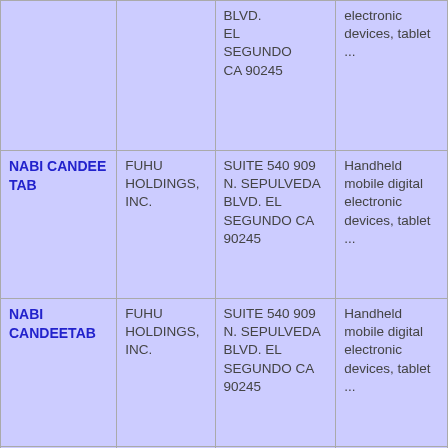| Trademark | Owner | Address | Description |
| --- | --- | --- | --- |
|  |  | BLVD. EL SEGUNDO CA 90245 | electronic devices, tablet ... |
| NABI CANDEE TAB | FUHU HOLDINGS, INC. | SUITE 540 909 N. SEPULVEDA BLVD. EL SEGUNDO CA 90245 | Handheld mobile digital electronic devices, tablet ... |
| NABI CANDEETAB | FUHU HOLDINGS, INC. | SUITE 540 909 N. SEPULVEDA BLVD. EL SEGUNDO CA 90245 | Handheld mobile digital electronic devices, tablet ... |
| NABI CANDI TAB | FUHU HOLDINGS, INC. | SUITE 540 909 N. SEPULVEDA BLVD. | Handheld mobile digital ... |